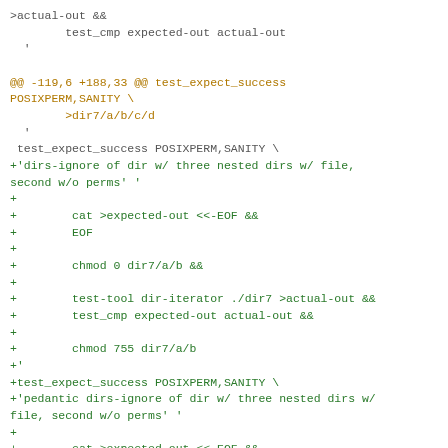Code diff showing git patch content with context lines, removed lines (orange), and added lines (green) for test_expect_success POSIXPERM,SANITY test cases related to dirs-ignore and pedantic dirs-ignore functionality.